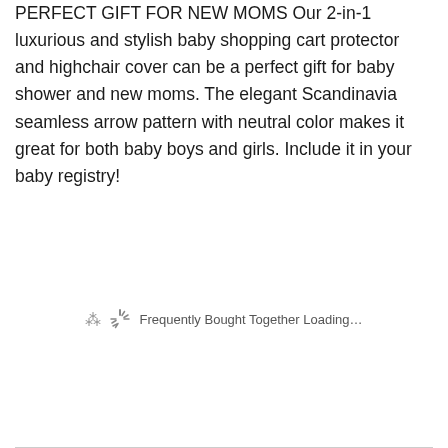PERFECT GIFT FOR NEW MOMS Our 2-in-1 luxurious and stylish baby shopping cart protector and highchair cover can be a perfect gift for baby shower and new moms. The elegant Scandinavia seamless arrow pattern with neutral color makes it great for both baby boys and girls. Include it in your baby registry!
Frequently Bought Together Loading...